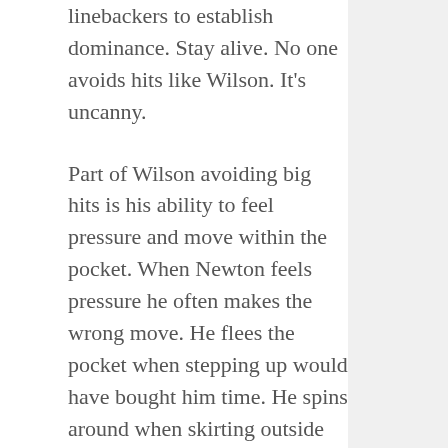linebackers to establish dominance. Stay alive. No one avoids hits like Wilson. It's uncanny.
Part of Wilson avoiding big hits is his ability to feel pressure and move within the pocket. When Newton feels pressure he often makes the wrong move. He flees the pocket when stepping up would have bought him time. He spins around when skirting outside was the best option. Pocket presence isn't a switch that can easily be flipped, but the Panthers need Newton to make more of a concerted effort in order to preserve his career.